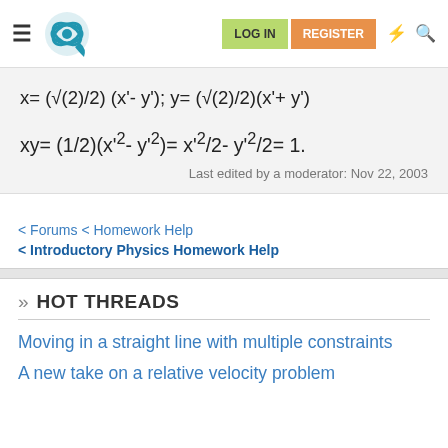Physics Forums — LOG IN | REGISTER
Last edited by a moderator: Nov 22, 2003
< Forums < Homework Help
< Introductory Physics Homework Help
» HOT THREADS
Moving in a straight line with multiple constraints
A new take on a relative velocity problem